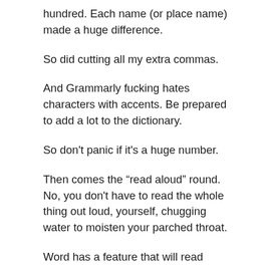hundred. Each name (or place name) made a huge difference.
So did cutting all my extra commas.
And Grammarly fucking hates characters with accents. Be prepared to add a lot to the dictionary.
So don’t panic if it’s a huge number.
Then comes the “read aloud” round. No, you don't have to read the whole thing out loud, yourself, chugging water to moisten your parched throat.
Word has a feature that will read whatever’s on the page to you. It mispronounced a lot of things, but it also shows you when a sentence doesn’t flow. Each word is highlighted when it’s read, so follow along looking for typos.